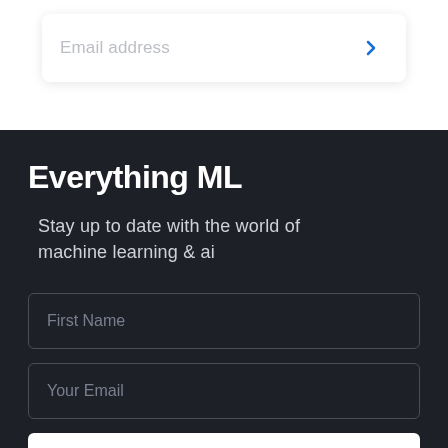[Figure (screenshot): Email address input field with a blue arrow button on the right, white card with shadow on white background]
Everything ML
Stay up to date with the world of machine learning & ai
[Figure (screenshot): First Name input field, dark background with border]
[Figure (screenshot): Your Email input field, dark background with border]
[Figure (screenshot): SIGN UP button, white background, partial view at bottom]